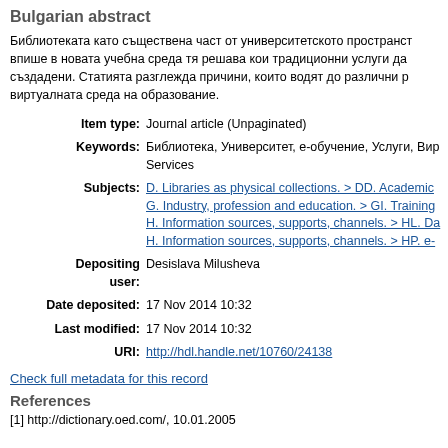Bulgarian abstract
Библиотеката като съществена част от университетското пространст... впише в новата учебна среда тя решава кои традиционни услуги да... създадени. Статията разглежда причини, които водят до различни р... виртуалната среда на образование.
| Item type: | Journal article (Unpaginated) |
| Keywords: | Библиотека, Университет, е-обучение, Услуги, Вир... Services |
| Subjects: | D. Libraries as physical collections. > DD. Academic...
G. Industry, profession and education. > GI. Training...
H. Information sources, supports, channels. > HL. Da...
H. Information sources, supports, channels. > HP. e-... |
| Depositing user: | Desislava Milusheva |
| Date deposited: | 17 Nov 2014 10:32 |
| Last modified: | 17 Nov 2014 10:32 |
| URI: | http://hdl.handle.net/10760/24138 |
Check full metadata for this record
References
[1] http://dictionary.oed.com/, 10.01.2005